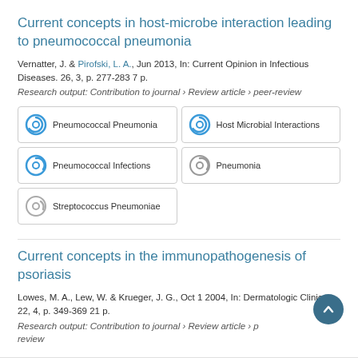Current concepts in host-microbe interaction leading to pneumococcal pneumonia
Vernatter, J. & Pirofski, L. A., Jun 2013, In: Current Opinion in Infectious Diseases. 26, 3, p. 277-283 7 p.
Research output: Contribution to journal › Review article › peer-review
Pneumococcal Pneumonia
Host Microbial Interactions
Pneumococcal Infections
Pneumonia
Streptococcus Pneumoniae
Current concepts in the immunopathogenesis of psoriasis
Lowes, M. A., Lew, W. & Krueger, J. G., Oct 1 2004, In: Dermatologic Clinics. 22, 4, p. 349-369 21 p.
Research output: Contribution to journal › Review article › peer-review